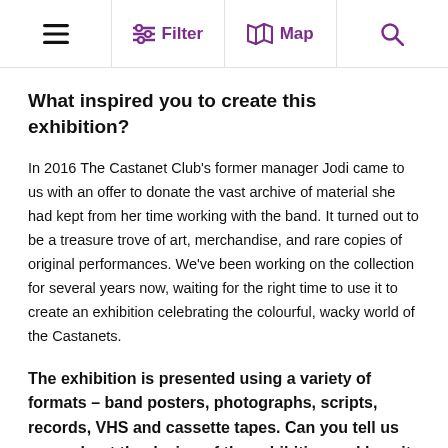≡  Filter  Map  🔍
What inspired you to create this exhibition?
In 2016 The Castanet Club's former manager Jodi came to us with an offer to donate the vast archive of material she had kept from her time working with the band. It turned out to be a treasure trove of art, merchandise, and rare copies of original performances. We've been working on the collection for several years now, waiting for the right time to use it to create an exhibition celebrating the colourful, wacky world of the Castanets.
The exhibition is presented using a variety of formats – band posters, photographs, scripts, records, VHS and cassette tapes. Can you tell us more about the design of the exhibition and how it came about?